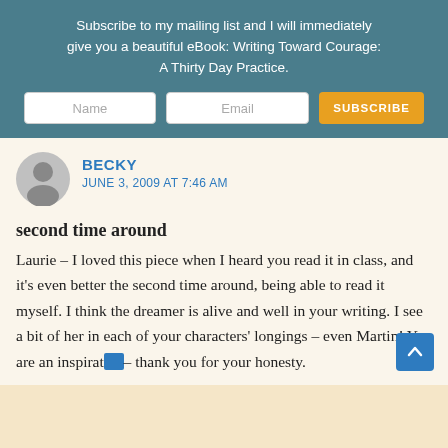Subscribe to my mailing list and I will immediately give you a beautiful eBook: Writing Toward Courage: A Thirty Day Practice.
Name | Email | SUBSCRIBE
BECKY
JUNE 3, 2009 AT 7:46 AM
second time around
Laurie – I loved this piece when I heard you read it in class, and it's even better the second time around, being able to read it myself. I think the dreamer is alive and well in your writing. I see a bit of her in each of your characters' longings – even Martin! You are an inspirat– thank you for your honesty.